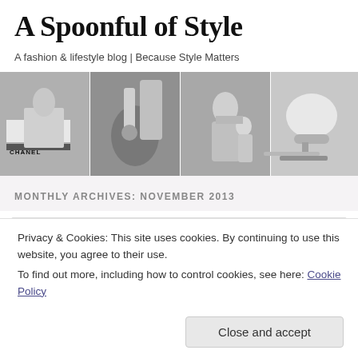A Spoonful of Style
A fashion & lifestyle blog | Because Style Matters
[Figure (photo): A horizontal strip of four black-and-white photos: a Chanel book with accessories, a hand holding nail polish near a bottle, a woman holding a young child outdoors, and a dessert in a silver cup with a spoon.]
MONTHLY ARCHIVES: NOVEMBER 2013
Privacy & Cookies: This site uses cookies. By continuing to use this website, you agree to their use.
To find out more, including how to control cookies, see here: Cookie Policy
Close and accept
should be two things,